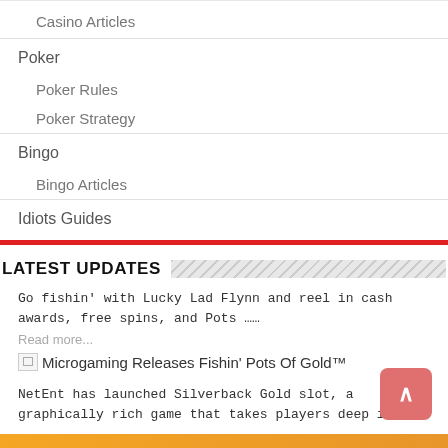Casino Articles
Poker
Poker Rules
Poker Strategy
Bingo
Bingo Articles
Idiots Guides
LATEST UPDATES
Go fishin' with Lucky Lad Flynn and reel in cash awards, free spins, and Pots ……
Read more...
Microgaming Releases Fishin' Pots Of Gold™
NetEnt has launched Silverback Gold slot, a graphically rich game that takes players deep into ……
Read more...